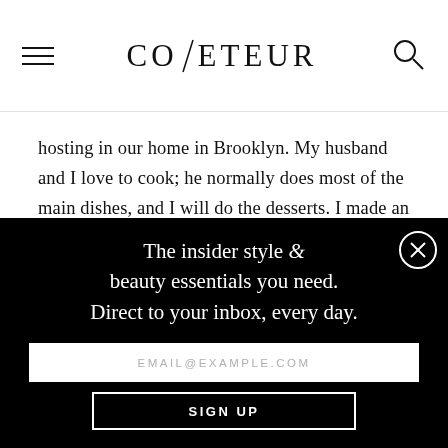COVETEUR
hosting in our home in Brooklyn. My husband and I love to cook; he normally does most of the main dishes, and I will do the desserts. I made an apple walnut cake last year that was a hit, but we tend to switch up the recipes every year and try something new. I also love to do a beautiful tablescape for dinner. I look forward to
The insider style & beauty essentials you need. Direct to your inbox, every day.
EMAIL@EXAMPLE.COM
SIGN UP